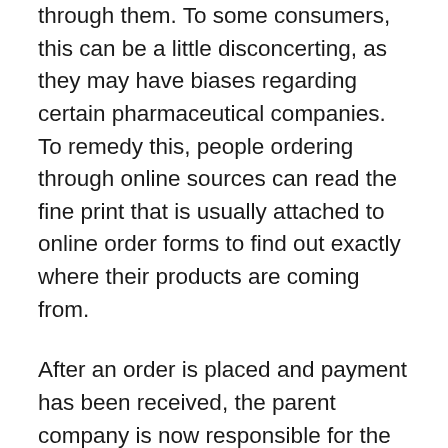through them. To some consumers, this can be a little disconcerting, as they may have biases regarding certain pharmaceutical companies. To remedy this, people ordering through online sources can read the fine print that is usually attached to online order forms to find out exactly where their products are coming from.
After an order is placed and payment has been received, the parent company is now responsible for the proper processing of each order. The affiliate's responsibilities end here, and now only have to worry about the commissions they will be receiving. In most cases, payments are received by the parent companies thanks to partnerships with banks. A percentage of the payment received from orders will automatically be forwarded to the